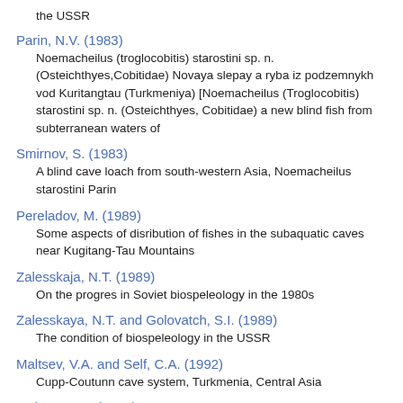the USSR
Parin, N.V. (1983)
Noemacheilus (troglocobitis) starostini sp. n. (Osteichthyes,Cobitidae) Novaya slepay a ryba iz podzemnykh vod Kuritangtau (Turkmeniya) [Noemacheilus (Troglocobitis) starostini sp. n. (Osteichthyes, Cobitidae) a new blind fish from subterranean waters of
Smirnov, S. (1983)
A blind cave loach from south-western Asia, Noemacheilus starostini Parin
Pereladov, M. (1989)
Some aspects of disribution of fishes in the subaquatic caves near Kugitang-Tau Mountains
Zalesskaja, N.T. (1989)
On the progres in Soviet biospeleology in the 1980s
Zalesskaya, N.T. and Golovatch, S.I. (1989)
The condition of biospeleology in the USSR
Maltsev, V.A. and Self, C.A. (1992)
Cupp-Coutunn cave system, Turkmenia, Central Asia
Maltsev, V.A. (1996)